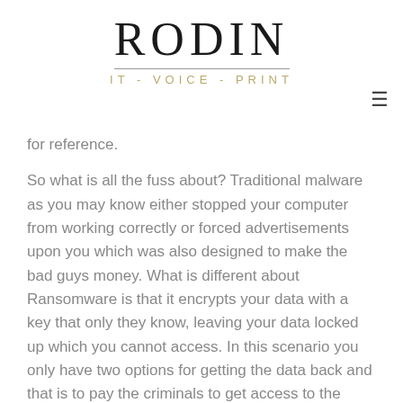[Figure (logo): RODIN IT - VOICE - PRINT logo with serif wordmark and horizontal rule]
for reference.
So what is all the fuss about? Traditional malware as you may know either stopped your computer from working correctly or forced advertisements upon you which was also designed to make the bad guys money. What is different about Ransomware is that it encrypts your data with a key that only they know, leaving your data locked up which you cannot access. In this scenario you only have two options for getting the data back and that is to pay the criminals to get access to the